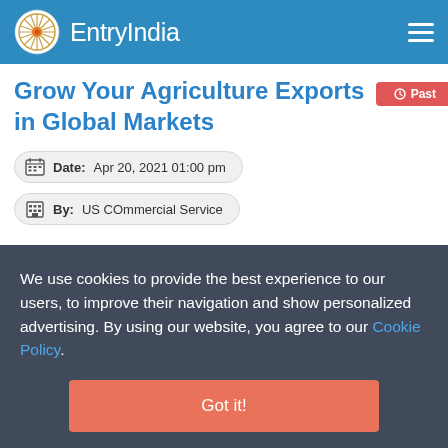EntryIndia
Grow Your Agriculture Exports in Global Markets
Date: Apr 20, 2021 01:00 pm
By: US COmmercial Service
We use cookies to provide the best experience to our users, to improve their navigation and show personalized advertising. By using our website, you agree to our Cookie Policy.
Got it!